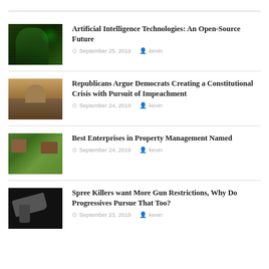[Figure (photo): AI face with green matrix binary code background]
Artificial Intelligence Technologies: An Open-Source Future
September 25, 2019   kevin
[Figure (photo): US Capitol building at dusk with dramatic sky]
Republicans Argue Democrats Creating a Constitutional Crisis with Pursuit of Impeachment
September 24, 2019   kevin
[Figure (photo): Aerial view of suburban houses with trees]
Best Enterprises in Property Management Named
September 24, 2019   kevin
[Figure (photo): Black and white image of a handgun]
Spree Killers want More Gun Restrictions, Why Do Progressives Pursue That Too?
September 23, 2019   kevin